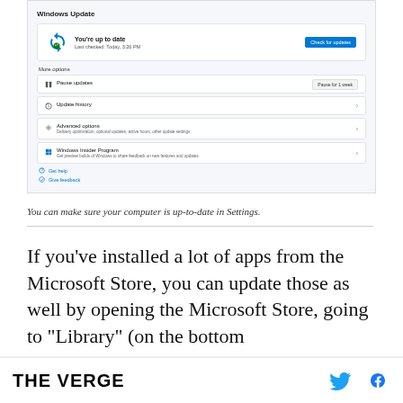[Figure (screenshot): Windows Update settings screen showing 'You're up to date' status with options: Pause updates, Update history, Advanced options, Windows Insider Program, Get help, Give feedback.]
You can make sure your computer is up-to-date in Settings.
If you've installed a lot of apps from the Microsoft Store, you can update those as well by opening the Microsoft Store, going to “Library” (on the bottom
THE VERGE